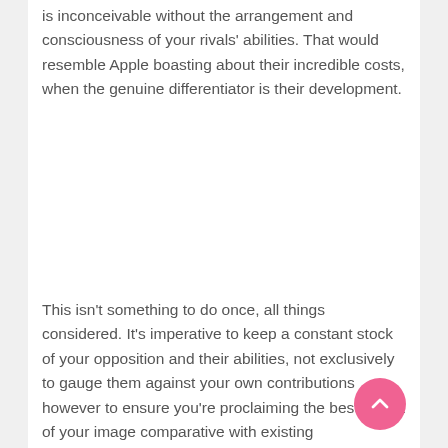is inconceivable without the arrangement and consciousness of your rivals' abilities. That would resemble Apple boasting about their incredible costs, when the genuine differentiator is their development.
This isn't something to do once, all things considered. It's imperative to keep a constant stock of your opposition and their abilities, not exclusively to gauge them against your own contributions however to ensure you're proclaiming the best extent of your image comparative with existing organizations.
As innovation (and your business) develops, so will mark capacities, so it's important to know the qualities of the other group each and every progression of the way.